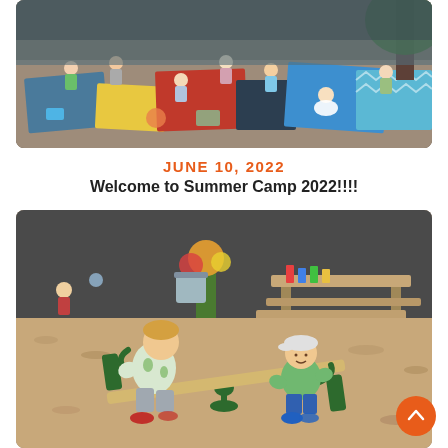[Figure (photo): Aerial view of children sitting on colorful blankets outdoors on wood chips, doing craft activities]
JUNE 10, 2022
Welcome to Summer Camp 2022!!!!
[Figure (photo): Two young boys on a green seesaw/rocking bench on wood chips playground, with picnic tables and flowers in background]